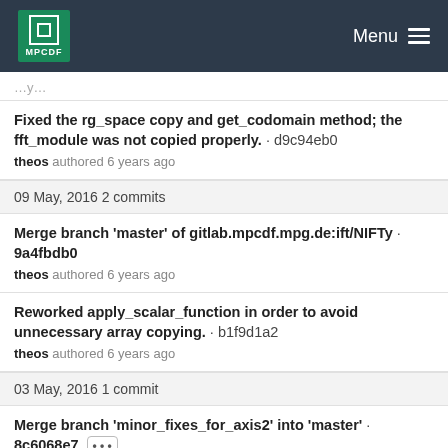MPCDF Menu
...y...
Fixed the rg_space copy and get_codomain method; the fft_module was not copied properly. · d9c94eb0
theos authored 6 years ago
09 May, 2016 2 commits
Merge branch 'master' of gitlab.mpcdf.mpg.de:ift/NIFTy · 9a4fbdb0
theos authored 6 years ago
Reworked apply_scalar_function in order to avoid unnecessary array copying. · b1f9d1a2
theos authored 6 years ago
03 May, 2016 1 commit
Merge branch 'minor_fixes_for_axis2' into 'master' · 8c6068e7 ••• 
Theo Steininger authored 6 years ago